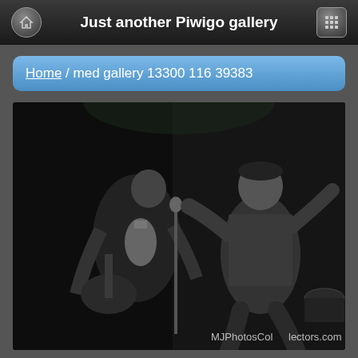Just another Piwigo gallery
Home / med gallery 13300 116 39383
[Figure (photo): Black and white vintage photo of performers on stage. A young boy is dancing/performing on the right side while an adult plays what appears to be a guitar or bass on the left. There is a microphone stand in the center. Watermark reads MJPhotosCollectors.com]
Posted on
Saturday 27 December 2014